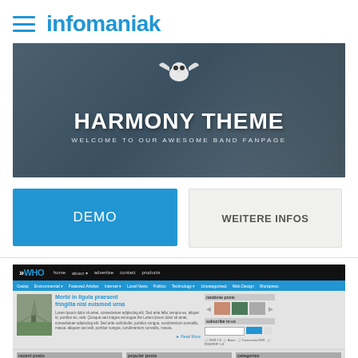infomaniak
[Figure (screenshot): Harmony Theme banner with owl illustration and text 'HARMONY THEME - WELCOME TO OUR AWESOME BAND FANPAGE' on dark background]
DEMO
WEITERE INFOS
[Figure (screenshot): Screenshot of a WordPress theme called 'WHO' with blue nav bar, blog post about 'Morbi in ligula praesent fringilla nisl euismod urna', sidebar with thumbnails, and footer sections including 'MAECENAS SCELERISQUE FERMENTUM...']